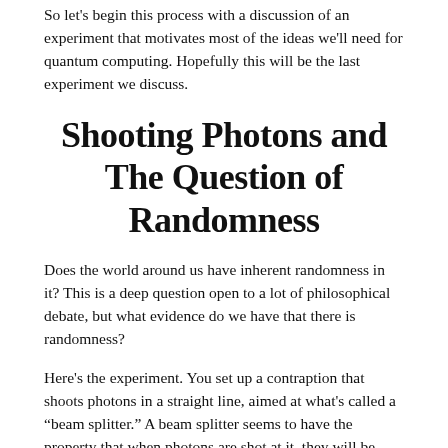So let's begin this process with a discussion of an experiment that motivates most of the ideas we'll need for quantum computing. Hopefully this will be the last experiment we discuss.
Shooting Photons and The Question of Randomness
Does the world around us have inherent randomness in it? This is a deep question open to a lot of philosophical debate, but what evidence do we have that there is randomness?
Here's the experiment. You set up a contraption that shoots photons in a straight line, aimed at what's called a “beam splitter.” A beam splitter seems to have the property that when photons are shot at it, they will be either be reflected at a 90 degree angle or stay in a straight line with probability 1/2. Indeed, if you put little photon receptors at the end of each possible route (straight or up, as below) to measure the number of photons that end at each receptor, you’ll find that on average half of the photons went up and half went